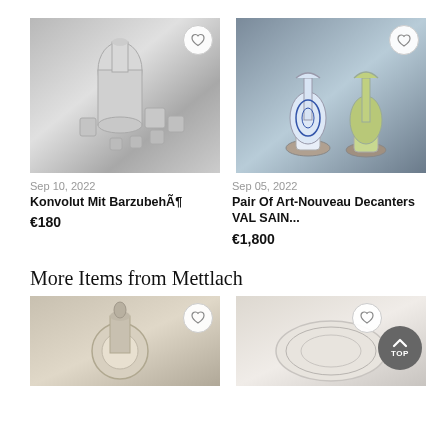[Figure (photo): Silver cocktail shaker set with multiple cups, metallic finish]
[Figure (photo): Pair of Art-Nouveau glass decanters, one blue and white, one green]
Sep 10, 2022
Konvolut Mit Barzubehör
€180
Sep 05, 2022
Pair Of Art-Nouveau Decanters VAL SAIN...
€1,800
More Items from Mettlach
[Figure (photo): Decorative item, partially visible, bottom-left]
[Figure (photo): Circular decorative item, partially visible, bottom-right]